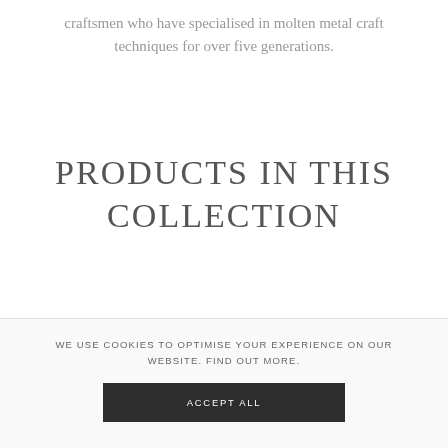craftsmen who have specialised in molten metal craft techniques for over five generations.
PRODUCTS IN THIS COLLECTION
WE USE COOKIES TO OPTIMISE YOUR EXPERIENCE ON OUR WEBSITE. FIND OUT MORE.
ACCEPT ALL